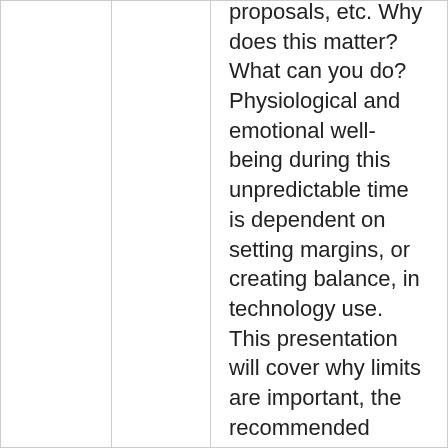proposals, etc. Why does this matter? What can you do? Physiological and emotional well-being during this unpredictable time is dependent on setting margins, or creating balance, in technology use. This presentation will cover why limits are important, the recommended boundaries between AND within professional and personal technology use, and